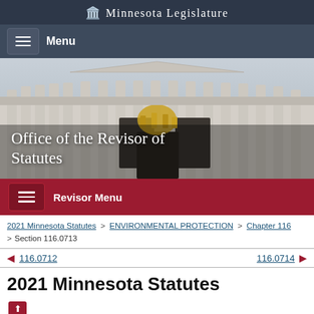Minnesota Legislature
Menu
[Figure (photo): Exterior photo of Minnesota State Capitol building showing neoclassical columns, dome architecture, and golden sculpture]
Office of the Revisor of Statutes
Revisor Menu
2021 Minnesota Statutes > ENVIRONMENTAL PROTECTION > Chapter 116 > Section 116.0713
116.0712  116.0714
2021 Minnesota Statutes